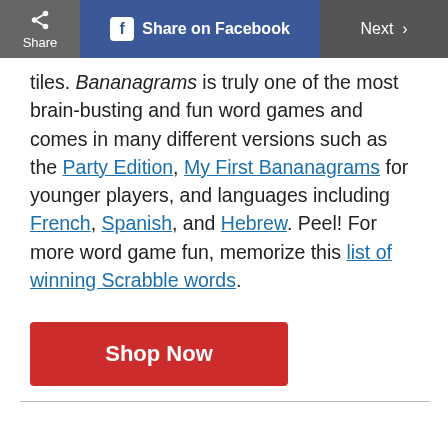Share | Share on Facebook | Next
tiles. Bananagrams is truly one of the most brain-busting and fun word games and comes in many different versions such as the Party Edition, My First Bananagrams for younger players, and languages including French, Spanish, and Hebrew. Peel! For more word game fun, memorize this list of winning Scrabble words.
[Figure (screenshot): Red 'Shop Now' button]
[Figure (screenshot): Bottom image section showing '5/24' slide number and a game box with text 'BUILD LIKE A MORTAL. WIN LIKE A GOD.']